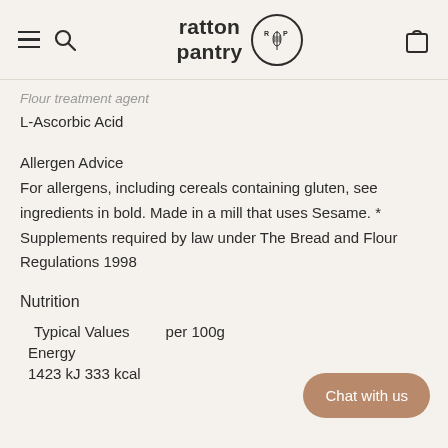ratton pantry
Flour treatment agent
L-Ascorbic Acid
Allergen Advice
For allergens, including cereals containing gluten, see ingredients in bold. Made in a mill that uses Sesame. * Supplements required by law under The Bread and Flour Regulations 1998
Nutrition
| Typical Values | per 100g |
| --- | --- |
| Energy |  |
| 1423 kJ 333 kcal |  |